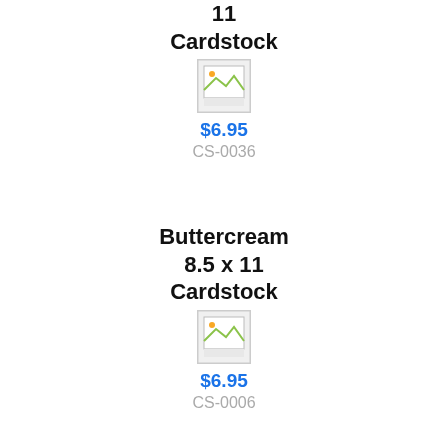11 Cardstock
[Figure (photo): Broken/placeholder image icon for product]
$6.95
CS-0036
Buttercream 8.5 x 11 Cardstock
[Figure (photo): Broken/placeholder image icon for product]
$6.95
CS-0006